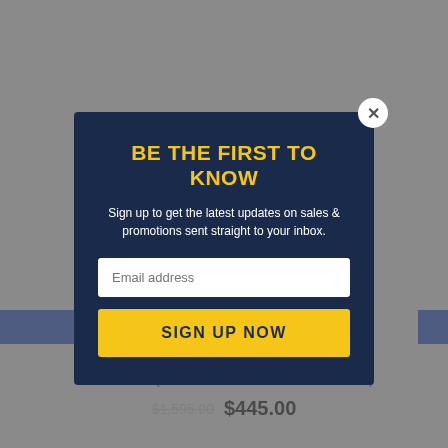[Figure (screenshot): E-commerce product page background showing a product image and product listing with pricing. Greyed out behind modal overlay.]
HDD - Touch (Refurbished - 2-4 Week Lead Time)
$1,595.00 $445.00
BE THE FIRST TO KNOW
Sign up to get the latest updates on sales & promotions sent straight to your inbox.
Email address
SIGN UP NOW